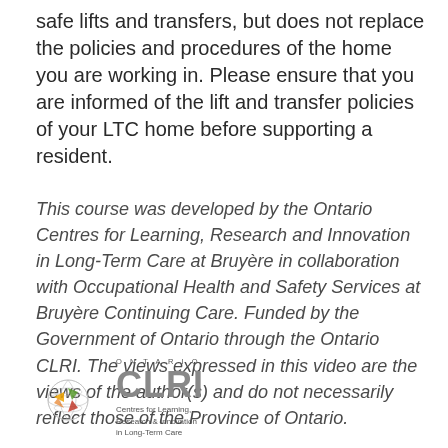safe lifts and transfers, but does not replace the policies and procedures of the home you are working in. Please ensure that you are informed of the lift and transfer policies of your LTC home before supporting a resident.
This course was developed by the Ontario Centres for Learning, Research and Innovation in Long-Term Care at Bruyère in collaboration with Occupational Health and Safety Services at Bruyère Continuing Care. Funded by the Government of Ontario through the Ontario CLRI. The views expressed in this video are the views of the author(s) and do not necessarily reflect those of the Province of Ontario.
[Figure (logo): Ontario CLRI (Centres for Learning, Research and Innovation in Long-Term Care) logo with colourful globe graphic and grey CLRI text.]